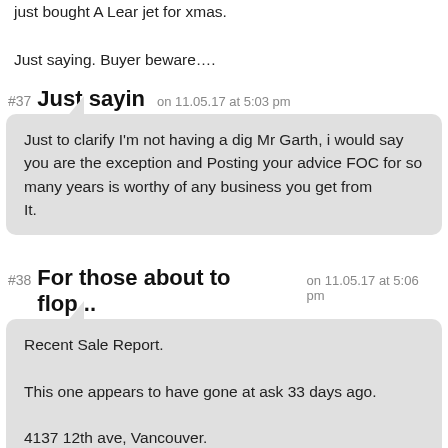just bought A Lear jet for xmas.

Just saying. Buyer beware….
#37 Just sayin on 11.05.17 at 5:03 pm
Just to clarify I'm not having a dig Mr Garth, i would say you are the exception and Posting your advice FOC for so many years is worthy of any business you get from It.
#38 For those about to flop... on 11.05.17 at 5:06 pm
Recent Sale Report.

This one appears to have gone at ask 33 days ago.

4137 12th ave, Vancouver.

Ask and sold 2.98